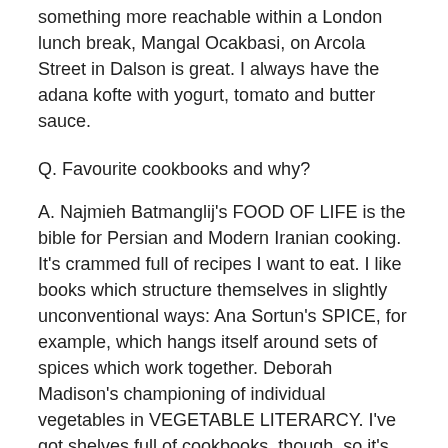something more reachable within a London lunch break, Mangal Ocakbasi, on Arcola Street in Dalson is great. I always have the adana kofte with yogurt, tomato and butter sauce.
Q. Favourite cookbooks and why?
A. Najmieh Batmanglij's FOOD OF LIFE is the bible for Persian and Modern Iranian cooking. It's crammed full of recipes I want to eat. I like books which structure themselves in slightly unconventional ways: Ana Sortun's SPICE, for example, which hangs itself around sets of spices which work together. Deborah Madison's championing of individual vegetables in VEGETABLE LITERARCY. I've got shelves full of cookbooks, though, so it's really hard to commit!
Q. Any ingredient you dislike and why?